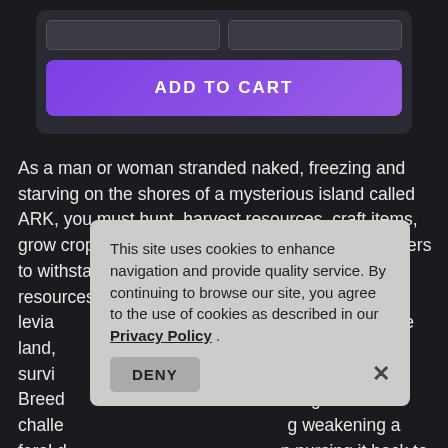[Figure (screenshot): E-commerce add to cart button section with dark background and purple ADD TO CART button]
As a man or woman stranded naked, freezing and starving on the shores of a mysterious island called ARK, you must hunt, harvest resources, craft items, grow crops, research technologies, and build shelters to withstand the elements. Use your cunning and resources to kill or tame & breed the leviathans... creatures roaming the land, ... other players to survive... features, & Breed... using a challenging weakening a feral d... nursing it back to hea... you can issue commands to your tames, which it may follow depending on
This site uses cookies to enhance navigation and provide quality service. By continuing to browse our site, you agree to the use of cookies as described in our Privacy Policy .